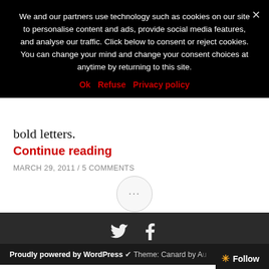We and our partners use technology such as cookies on our site to personalise content and ads, provide social media features, and analyse our traffic. Click below to consent or reject cookies. You can change your mind and change your consent choices at anytime by returning to this site.
Ok   Refuse   Privacy policy
bold letters.
Continue reading
MARCH 29, 2011 / 5 COMMENTS
[Figure (other): Ellipsis button (three dots) in a circular border]
[Figure (other): Social media icons: Twitter bird and Facebook F in dark footer bar]
Proudly powered by WordPress  Theme: Canard by A...
Follow